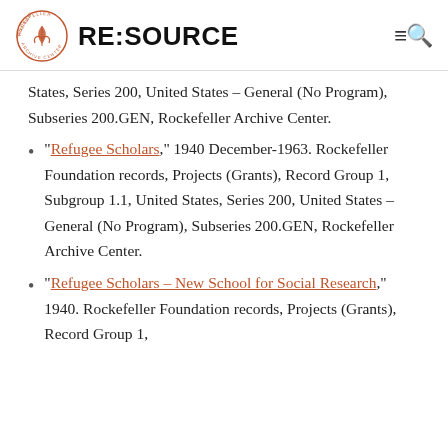RE:SOURCE
States, Series 200, United States – General (No Program), Subseries 200.GEN, Rockefeller Archive Center.
"Refugee Scholars," 1940 December-1963. Rockefeller Foundation records, Projects (Grants), Record Group 1, Subgroup 1.1, United States, Series 200, United States – General (No Program), Subseries 200.GEN, Rockefeller Archive Center.
"Refugee Scholars – New School for Social Research," 1940. Rockefeller Foundation records, Projects (Grants), Record Group 1,